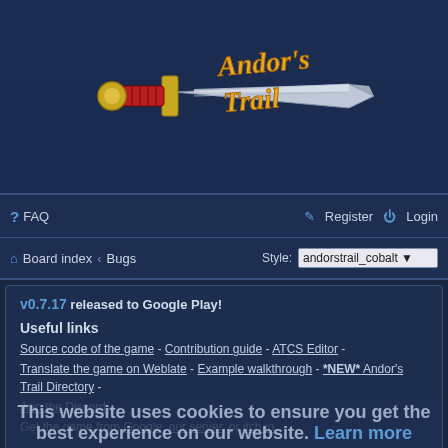[Figure (logo): Andor's Trail game logo with a sword and stylized text]
FAQ   Register   Login
Board index « Bugs   Style: andorstrail_cobalt
v0.7.17 released to Google Play!
Useful links
Source code of the game - Contribution guide - ATCS Editor - Translate the game on Weblate - Example walkthrough - *NEW* Andor's Trail Directory - Join the Discord
Get the game from Google, our server, or itch.io
This website uses cookies to ensure you get the best experience on our website. Learn more
Bugs
New Topic
Got it!
443 topics   1 2 3 4 5 ... 18 >